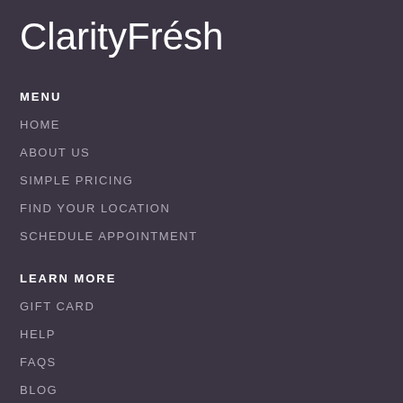ClarityFrésh
MENU
HOME
ABOUT US
SIMPLE PRICING
FIND YOUR LOCATION
SCHEDULE APPOINTMENT
LEARN MORE
GIFT CARD
HELP
FAQS
BLOG